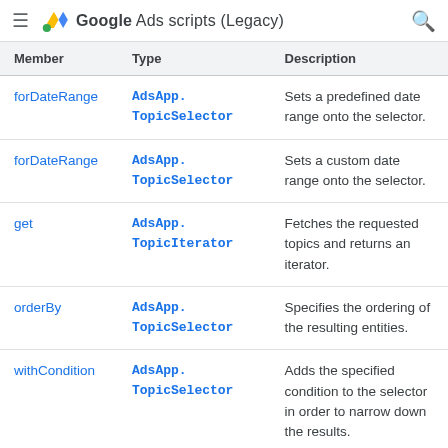Google Ads scripts (Legacy)
| Member | Type | Description |
| --- | --- | --- |
| forDateRange | AdsApp.TopicSelector | Sets a predefined date range onto the selector. |
| forDateRange | AdsApp.TopicSelector | Sets a custom date range onto the selector. |
| get | AdsApp.TopicIterator | Fetches the requested topics and returns an iterator. |
| orderBy | AdsApp.TopicSelector | Specifies the ordering of the resulting entities. |
| withCondition | AdsApp.TopicSelector | Adds the specified condition to the selector in order to narrow down the results. |
| withIds | AdsApp.TopicSelector | Restricts this selector to return only items with th… |